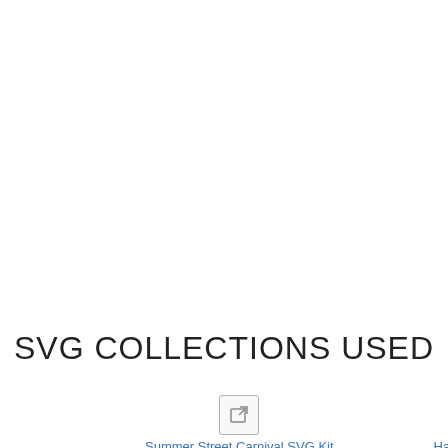SVG COLLECTIONS USED
Summer Street Carnival SVG Kit
Hazel's Wicked